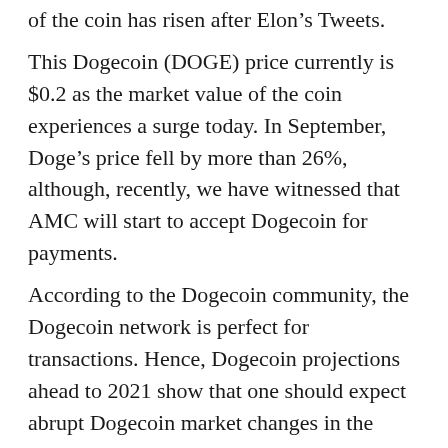of the coin has risen after Elon's Tweets.
This Dogecoin (DOGE) price currently is $0.2 as the market value of the coin experiences a surge today. In September, Doge's price fell by more than 26%, although, recently, we have witnessed that AMC will start to accept Dogecoin for payments.
According to the Dogecoin community, the Dogecoin network is perfect for transactions. Hence, Dogecoin projections ahead to 2021 show that one should expect abrupt Dogecoin market changes in the short term as the price journey and abrupt price changes continue beyond 2021 as Bitcoin's price rally continues.
Compared to prices at the start of the year, DOGE has gained massive profits in 2021, gaining over 3100% in 2021.